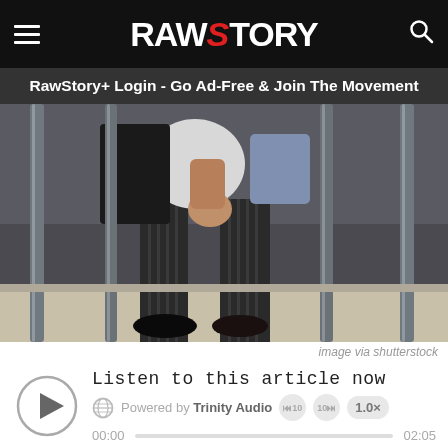RAW STORY
RawStory+ Login - Go Ad-Free & Join The Movement
[Figure (photo): Person in a suit sitting on a jail bed behind prison bars, viewed from the waist down.]
image via shutterstock
Listen to this article now
Powered by Trinity Audio  00:00  02:05  1.0x